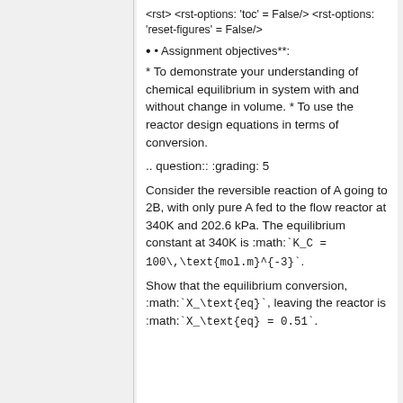<rst> <rst-options: 'toc' = False/> <rst-options: 'reset-figures' = False/>
• Assignment objectives**:
* To demonstrate your understanding of chemical equilibrium in system with and without change in volume. * To use the reactor design equations in terms of conversion.
.. question:: :grading: 5
Consider the reversible reaction of A going to 2B, with only pure A fed to the flow reactor at 340K and 202.6 kPa. The equilibrium constant at 340K is :math:`K_C = 100\,\text{mol.m}^{-3}`.
Show that the equilibrium conversion, :math:`X_\text{eq}`, leaving the reactor is :math:`X_\text{eq} = 0.51`.